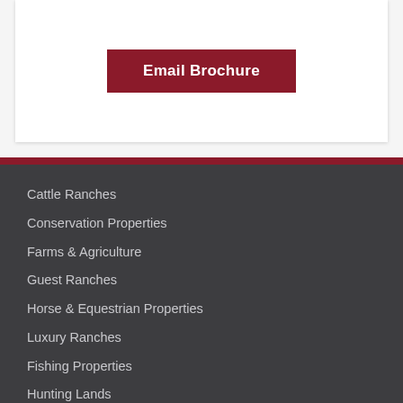[Figure (other): White card/panel with an Email Brochure button in dark red]
Cattle Ranches
Conservation Properties
Farms & Agriculture
Guest Ranches
Horse & Equestrian Properties
Luxury Ranches
Fishing Properties
Hunting Lands
Horse & Equestrian Ranches